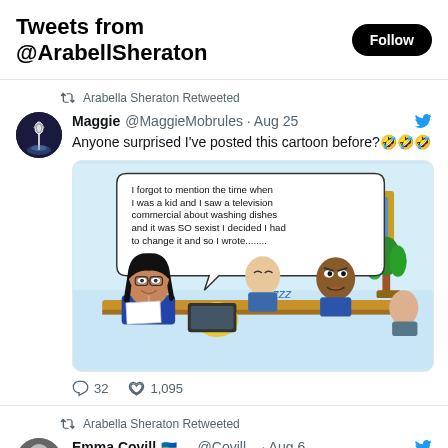Tweets from @ArabellSheraton
Arabella Sheraton Retweeted
Maggie @MaggieMobrules · Aug 25
Anyone surprised I've posted this cartoon before?🤣🤣🤣
[Figure (illustration): Political cartoon showing a woman in a business suit with dark hair and glasses speaking at a boardroom table, with a speech bubble saying 'I forgot to mention the time when I was a kid and I saw a television commercial about washing dishes and it was SO sexist I decided I had to change it and so I wrote........' Other people at the table look bored or asleep, with 'zzz' shown. A sign on the wall reads 'BORED ROOM'.]
32  1,095
Arabella Sheraton Retweeted
Emma Covill 🇺🇦 ... @Covill... · Aug 6